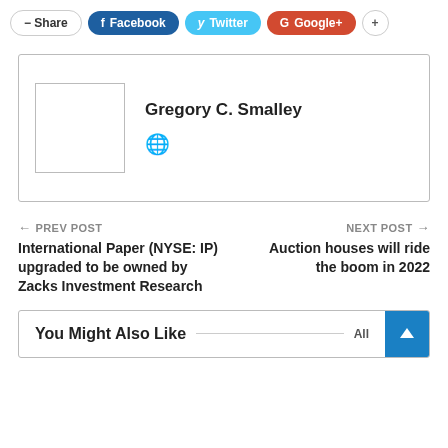Share | Facebook | Twitter | Google+ | +
[Figure (other): Author card for Gregory C. Smalley with placeholder avatar image and globe icon]
Gregory C. Smalley
← PREV POST
International Paper (NYSE: IP) upgraded to be owned by Zacks Investment Research
NEXT POST →
Auction houses will ride the boom in 2022
You Might Also Like